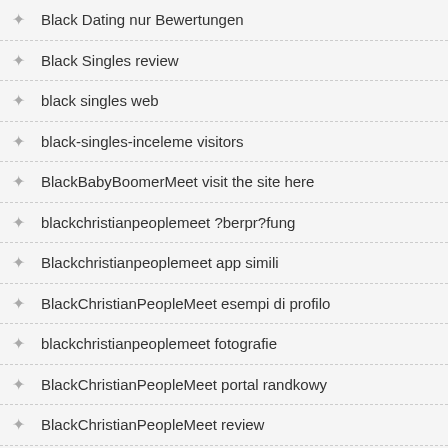Black Dating nur Bewertungen
Black Singles review
black singles web
black-singles-inceleme visitors
BlackBabyBoomerMeet visit the site here
blackchristianpeoplemeet ?berpr?fung
Blackchristianpeoplemeet app simili
BlackChristianPeopleMeet esempi di profilo
blackchristianpeoplemeet fotografie
BlackChristianPeopleMeet portal randkowy
BlackChristianPeopleMeet review
BlackChristianPeopleMeet visitors